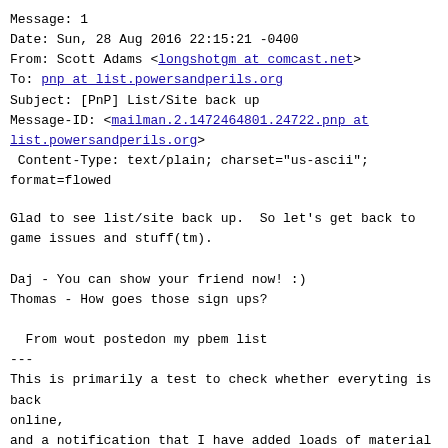Message: 1
Date: Sun, 28 Aug 2016 22:15:21 -0400
From: Scott Adams <longshotgm at comcast.net>
To: pnp at list.powersandperils.org
Subject: [PnP] List/Site back up
Message-ID: <mailman.2.1472464801.24722.pnp at list.powersandperils.org>
Content-Type: text/plain; charset="us-ascii";
format=flowed
Glad to see list/site back up.  So let's get back to game issues and stuff(tm).

Daj - You can show your friend now! :)
Thomas - How goes those sign ups?

  From wout postedon my pbem list
---
This is primarily a test to check whether everyting is back
online,
and a notification that I have added loads of material to
the
website. Everything AH published and my backlog on player
submitted
material has now been added.